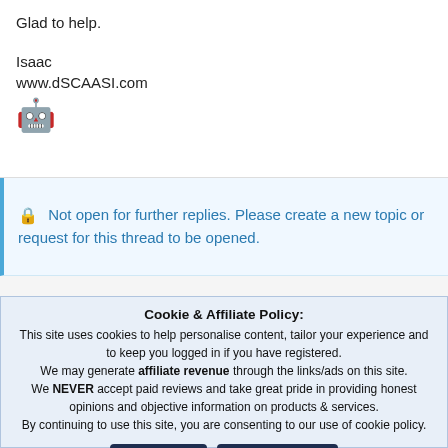Glad to help.
Isaac
www.dSCAASI.com
[Figure (illustration): Happy face emoji / robot character]
🔒 Not open for further replies. Please create a new topic or request for this thread to be opened.
Cookie & Affiliate Policy:
This site uses cookies to help personalise content, tailor your experience and to keep you logged in if you have registered.
We may generate affiliate revenue through the links/ads on this site.
We NEVER accept paid reviews and take great pride in providing honest opinions and objective information on products & services.
By continuing to use this site, you are consenting to our use of cookie policy.